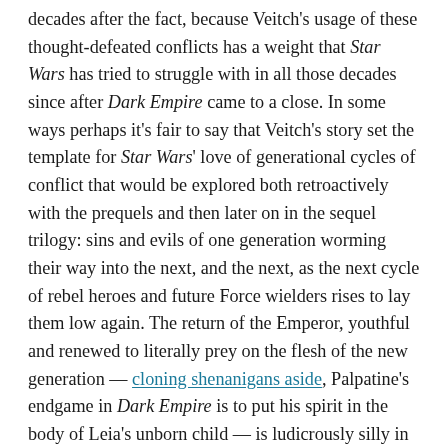decades after the fact, because Veitch's usage of these thought-defeated conflicts has a weight that Star Wars has tried to struggle with in all those decades since after Dark Empire came to a close. In some ways perhaps it's fair to say that Veitch's story set the template for Star Wars' love of generational cycles of conflict that would be explored both retroactively with the prequels and then later on in the sequel trilogy: sins and evils of one generation worming their way into the next, and the next, as the next cycle of rebel heroes and future Force wielders rises to lay them low again. The return of the Emperor, youthful and renewed to literally prey on the flesh of the new generation — cloning shenanigans aside, Palpatine's endgame in Dark Empire is to put his spirit in the body of Leia's unborn child — is ludicrously silly in the way that Star Wars is ludicrously silly. But the way it serves as a catalyst for Luke to re-confront the evils that tempted him in the past provides Dark Empire with a thematic heart that goes beyond the continued story of rebel heroes and resurgent empires.